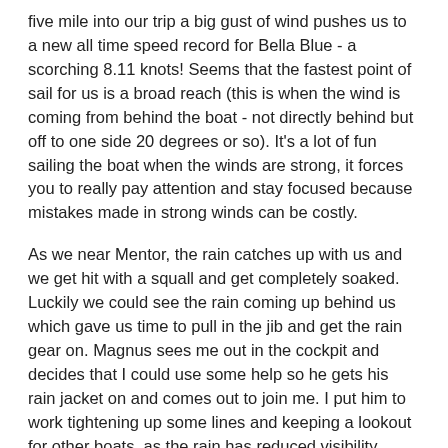five mile into our trip a big gust of wind pushes us to a new all time speed record for Bella Blue - a scorching 8.11 knots! Seems that the fastest point of sail for us is a broad reach (this is when the wind is coming from behind the boat - not directly behind but off to one side 20 degrees or so). It's a lot of fun sailing the boat when the winds are strong, it forces you to really pay attention and stay focused because mistakes made in strong winds can be costly.
As we near Mentor, the rain catches up with us and we get hit with a squall and get completely soaked. Luckily we could see the rain coming up behind us which gave us time to pull in the jib and get the rain gear on. Magnus sees me out in the cockpit and decides that I could use some help so he gets his rain jacket on and comes out to join me. I put him to work tightening up some lines and keeping a lookout for other boats, as the rain has reduced visibility substantially. I am constantly impressed with how well the kids have taken to the boat, it seems very natural to them and they enjoy being on the water. They are going to grow up to be excellent sailors.